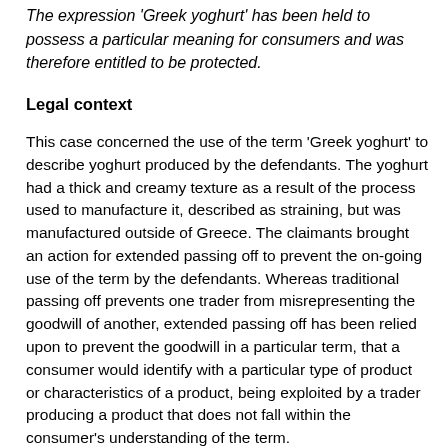The expression ‘Greek yoghurt’ has been held to possess a particular meaning for consumers and was therefore entitled to be protected.
Legal context
This case concerned the use of the term ‘Greek yoghurt’ to describe yoghurt produced by the defendants. The yoghurt had a thick and creamy texture as a result of the process used to manufacture it, described as straining, but was manufactured outside of Greece. The claimants brought an action for extended passing off to prevent the on-going use of the term by the defendants. Whereas traditional passing off prevents one trader from misrepresenting the goodwill of another, extended passing off has been relied upon to prevent the goodwill in a particular term, that a consumer would identify with a particular type of product or characteristics of a product, being exploited by a trader producing a product that does not fall within the consumer’s understanding of the term.
This form of passing off was first recognized in Bollinger v